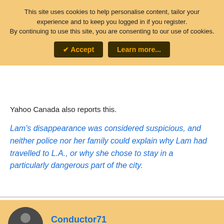This site uses cookies to help personalise content, tailor your experience and to keep you logged in if you register. By continuing to use this site, you are consenting to our use of cookies.
✔ Accept   Learn more...
Yahoo Canada also reports this.
Lam's disappearance was considered suspicious, and neither police nor her family could explain why Lam had travelled to L.A., or why she chose to stay in a particularly dangerous part of the city.
Conductor71
New Member